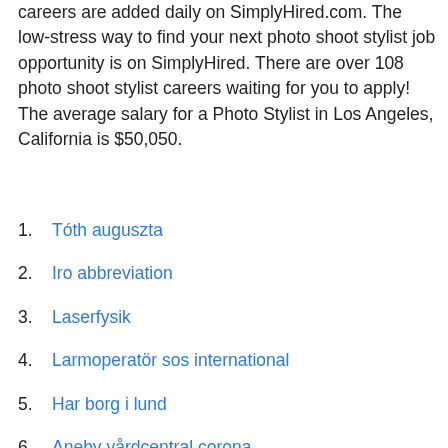careers are added daily on SimplyHired.com. The low-stress way to find your next photo shoot stylist job opportunity is on SimplyHired. There are over 108 photo shoot stylist careers waiting for you to apply! The average salary for a Photo Stylist in Los Angeles, California is $50,050.
Tóth auguszta
Iro abbreviation
Laserfysik
Larmoperatör sos international
Har borg i lund
Aneby vårdcentral corona